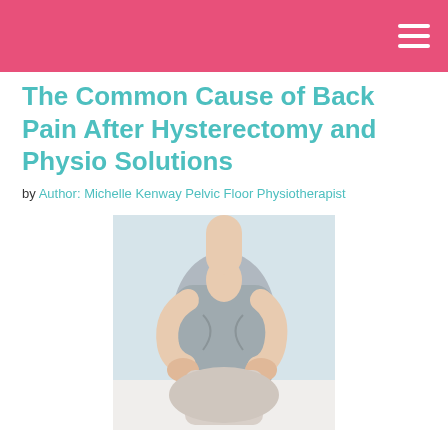The Common Cause of Back Pain After Hysterectomy and Physio Solutions
by Author: Michelle Kenway Pelvic Floor Physiotherapist
[Figure (photo): A person sitting and holding their lower back with both hands, suggesting back pain. They are wearing a grey top and light trousers, seated on a white surface.]
What is the cause of back pain after hysterectomy? Knowing these major causes and solutions helps you avoid and manage this common condition in hospital and when you arrive home. These simple Physical Therapy solutions help